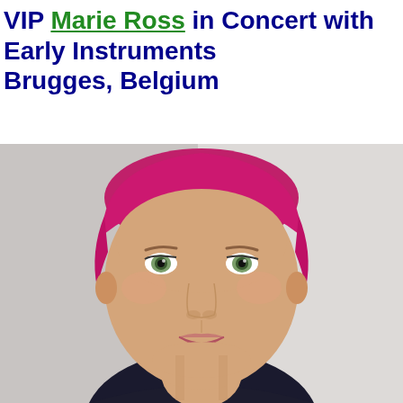VIP Marie Ross in Concert with Early Instruments Brugges, Belgium
[Figure (photo): Close-up portrait photo of a woman with short pink/magenta hair, light skin, green eyes, and a slight smile. She is wearing a dark top. The background is light gray/white.]